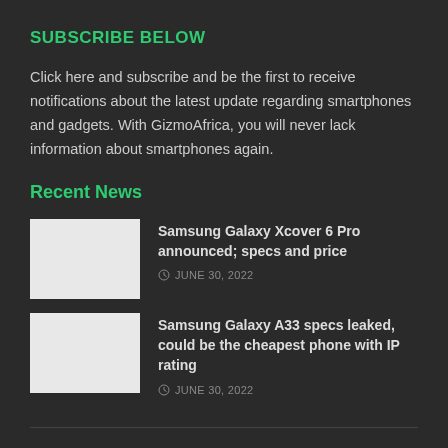SUBSCRIBE BELOW
Click here and subscribe and be the first to receive notifications about the latest update regarding smartphones and gadgets. With GizmoAfrica, you will never lack information about smartphones again.
Recent News
[Figure (photo): Thumbnail image placeholder for Samsung Galaxy Xcover 6 Pro article]
Samsung Galaxy Xcover 6 Pro announced; specs and price
JUNE 30, 2022
[Figure (photo): Thumbnail image placeholder for Samsung Galaxy A33 article]
Samsung Galaxy A33 specs leaked, could be the cheapest phone with IP rating
JUNE 30, 2022